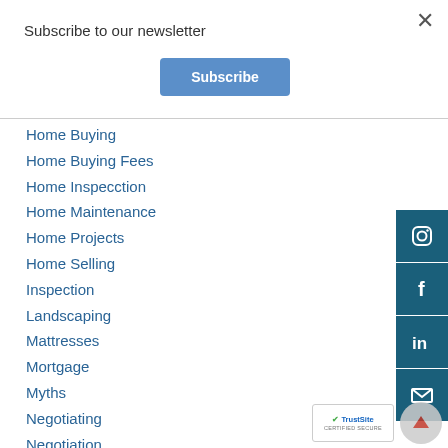Subscribe to our newsletter
Subscribe
Home Buying
Home Buying Fees
Home Inspecction
Home Maintenance
Home Projects
Home Selling
Inspection
Landscaping
Mattresses
Mortgage
Myths
Negotiating
Negotiation
Offers
Owning A Home
[Figure (infographic): Social media icons sidebar: Instagram, Facebook, LinkedIn, Email/Mail]
[Figure (infographic): TrustSite certified secure badge and scroll-to-top button]